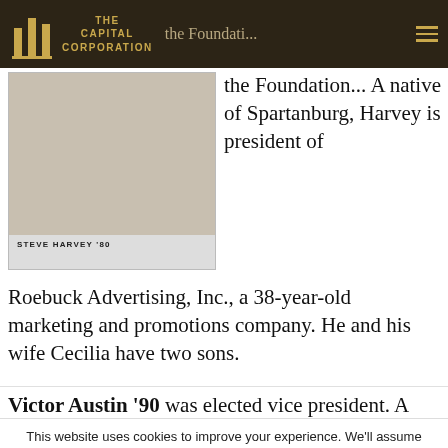THE CAPITAL CORPORATION | the Foundation...
[Figure (photo): Photo of Steve Harvey '80]
STEVE HARVEY '80
the Foundation... A native of Spartanburg, Harvey is president of Roebuck Advertising, Inc., a 38-year-old marketing and promotions company. He and his wife Cecilia have two sons.
Victor Austin '90 was elected vice president. A
This website uses cookies to improve your experience. We'll assume you're ok with this, but you can opt-out if you wish.
Cookie settings    ACCEPT